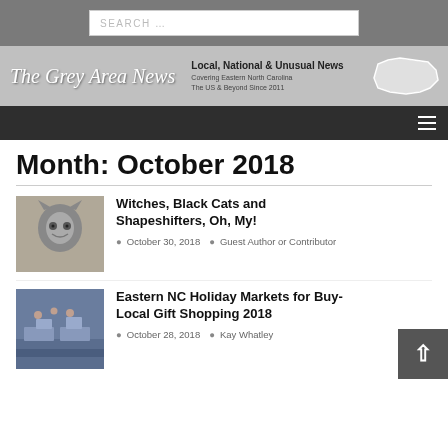SEARCH ...
[Figure (logo): The Grey Area News logo with tagline: Local, National & Unusual News. Covering Eastern North Carolina. The US & Beyond Since 2011. North Carolina state map silhouette.]
Month: October 2018
Witches, Black Cats and Shapeshifters, Oh, My!
October 30, 2018   Guest Author or Contributor
Eastern NC Holiday Markets for Buy-Local Gift Shopping 2018
October 28, 2018   Kay Whatley